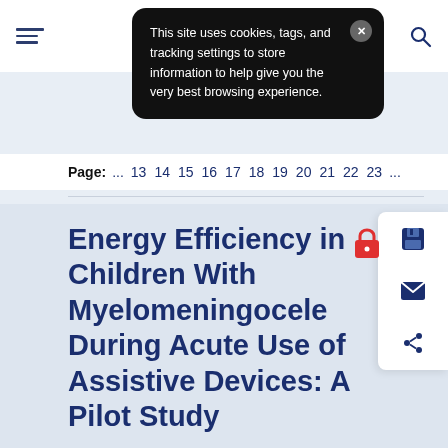[Figure (screenshot): Cookie consent popup with dark background saying 'This site uses cookies, tags, and tracking settings to store information to help give you the very best browsing experience.' with a close button]
Page: ... 13 14 15 16 17 18 19 20 21 22 23 ...
Energy Efficiency in Children With Myelomeningocele During Acute Use of Assistive Devices: A Pilot Study